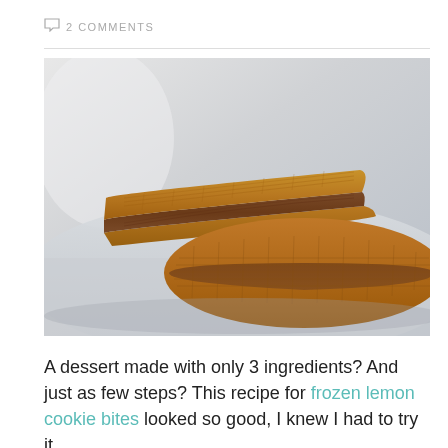2 COMMENTS
[Figure (photo): Two sandwich-style cookies with chocolate filling on a white plate, showing the cross-section of the filling between two golden waffle-textured cookie layers.]
A dessert made with only 3 ingredients? And just as few steps? This recipe for frozen lemon cookie bites looked so good, I knew I had to try it.